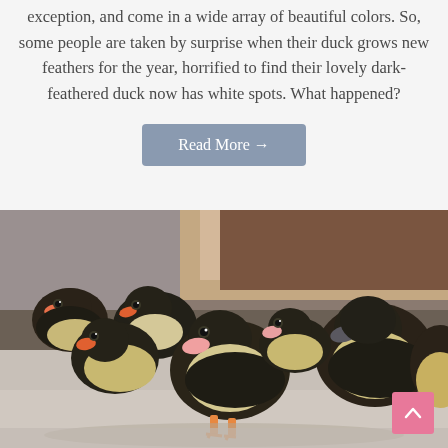exception, and come in a wide array of beautiful colors. So, some people are taken by surprise when their duck grows new feathers for the year, horrified to find their lovely dark-feathered duck now has white spots. What happened?
Read More →
[Figure (photo): A group of fluffy ducklings, mostly dark brown and cream/yellow colored, huddled together. They appear to be Muscovy or mallard-type ducklings photographed indoors.]